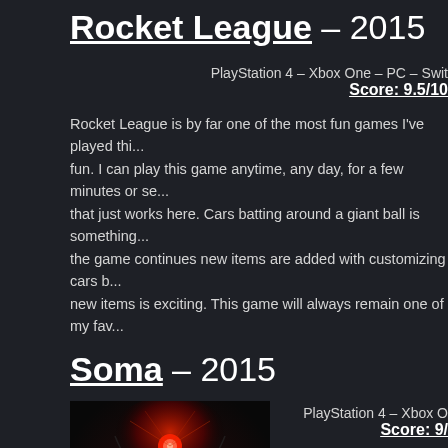Rocket League – 2015
PlayStation 4 – Xbox One – PC – Swit
Score: 9.5/10
Rocket League is by far one of the most fun games I've played thi... fun. I can play this game anytime, any day, for a few minutes or se... that just works here. Cars batting around a giant ball is something... the game continues new items are added with customizing cars b... new items is exciting. This game will always remain one of my fav...
Soma – 2015
PlayStation 4 – Xbox O
Score: 9/
[Figure (photo): Cover art for Soma game, dark atmospheric image with a glowing red light and creature-like form, with SOMA text at bottom]
Soma isn't just another adventure game by... game had a story that rocked my core and... game stories I've ever had the pleasure to... similar to other horror adventure game...